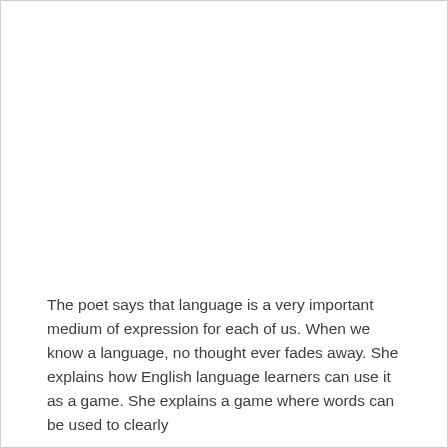The poet says that language is a very important medium of expression for each of us. When we know a language, no thought ever fades away. She explains how English language learners can use it as a game. She explains a game where words can be used to clearly